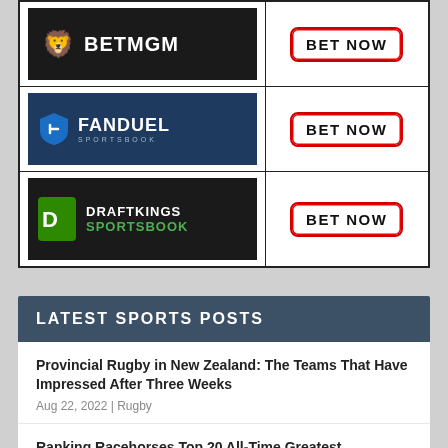| Sportsbook | Action |
| --- | --- |
| BetMGM | BET NOW |
| FanDuel Sportsbook | BET NOW |
| DraftKings Sportsbook | BET NOW |
LATEST SPORTS POSTS
Provincial Rugby in New Zealand: The Teams That Have Impressed After Three Weeks
Aug 22, 2022 | Rugby
Ranking Racehorses Top 20 All-Time Greatest